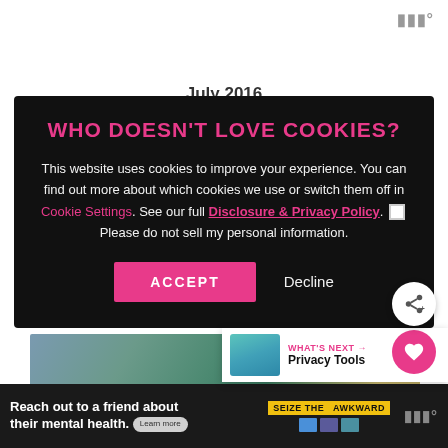[Figure (screenshot): Website screenshot showing a cookie consent overlay on a dark background. The overlay has a pink/magenta title 'WHO DOESN'T LOVE COOKIES?' with body text about cookie usage, links to Cookie Settings and Disclosure & Privacy Policy, a checkbox, Accept and Decline buttons. Floating heart and share buttons visible on right side. A 'What's Next: Privacy Tools' thumbnail in bottom-right. Bottom advertisement bar for 'Seize The Awkward' mental health campaign.]